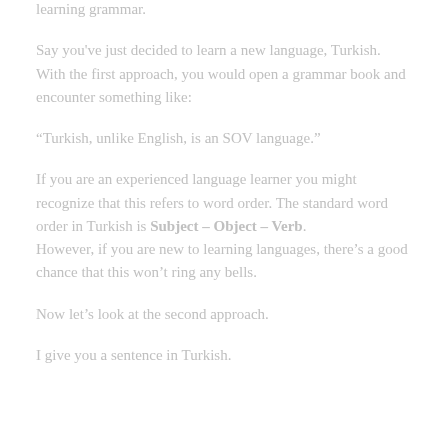learning grammar.
Say you've just decided to learn a new language, Turkish. With the first approach, you would open a grammar book and encounter something like:
“Turkish, unlike English, is an SOV language.”
If you are an experienced language learner you might recognize that this refers to word order. The standard word order in Turkish is Subject – Object – Verb. However, if you are new to learning languages, there’s a good chance that this won’t ring any bells.
Now let’s look at the second approach.
I give you a sentence in Turkish.